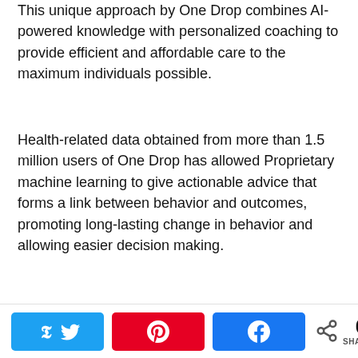This unique approach by One Drop combines AI-powered knowledge with personalized coaching to provide efficient and affordable care to the maximum individuals possible.
Health-related data obtained from more than 1.5 million users of One Drop has allowed Proprietary machine learning to give actionable advice that forms a link between behavior and outcomes, promoting long-lasting change in behavior and allowing easier decision making.
Related: Ascensia Diabetes Care is Launching a Family Focused Campaign On World Diabetes Day 2019
[Figure (other): Social share buttons bar: Twitter (blue), Pinterest (red), Facebook (blue), and a share count showing 0 SHARES]